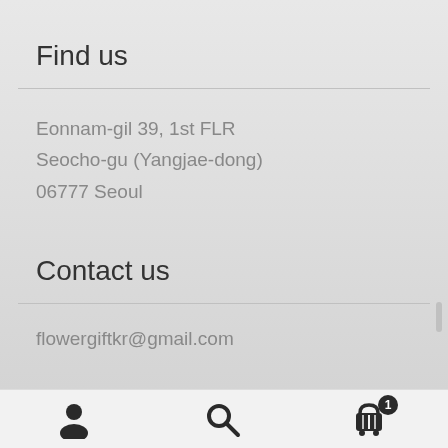Find us
Eonnam-gil 39, 1st FLR
Seocho-gu (Yangjae-dong)
06777 Seoul
Contact us
flowergiftkr@gmail.com
[Figure (infographic): Bottom navigation bar with user/account icon, search icon, and shopping cart icon with badge showing count 1]